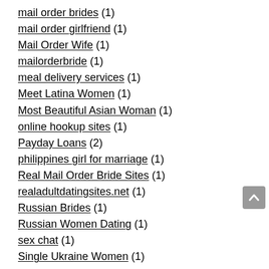mail order brides (1)
mail order girlfriend (1)
Mail Order Wife (1)
mailorderbride (1)
meal delivery services (1)
Meet Latina Women (1)
Most Beautiful Asian Woman (1)
online hookup sites (1)
Payday Loans (2)
philippines girl for marriage (1)
Real Mail Order Bride Sites (1)
realadultdatingsites.net (1)
Russian Brides (1)
Russian Women Dating (1)
sex chat (1)
Single Ukraine Women (1)
Sugar Daddy (1)
TIN TỨC (629)
tophookupdatingsites.net (1)